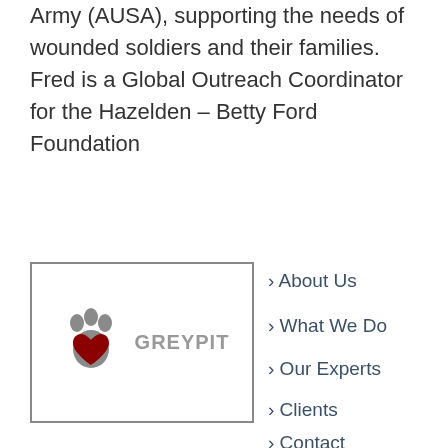Army (AUSA), supporting the needs of wounded soldiers and their families.  Fred is a Global Outreach Coordinator for the Hazelden – Betty Ford Foundation
[Figure (logo): Greypit logo: a grey paw print with a red heart-shaped pad, followed by the text GREYPIT in grey capital letters, all inside a grey-bordered rectangle]
> About Us
> What We Do
> Our Experts
> Clients
> Contact